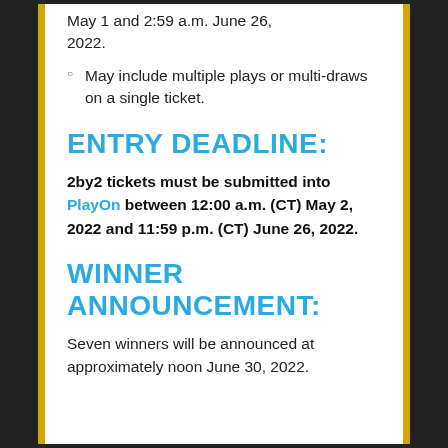May 1 and 2:59 a.m. June 26, 2022.
May include multiple plays or multi-draws on a single ticket.
ENTRY DEADLINE:
2by2 tickets must be submitted into PlayOn between 12:00 a.m. (CT) May 2, 2022 and 11:59 p.m. (CT) June 26, 2022.
WINNER ANNOUNCEMENT:
Seven winners will be announced at approximately noon June 30, 2022.